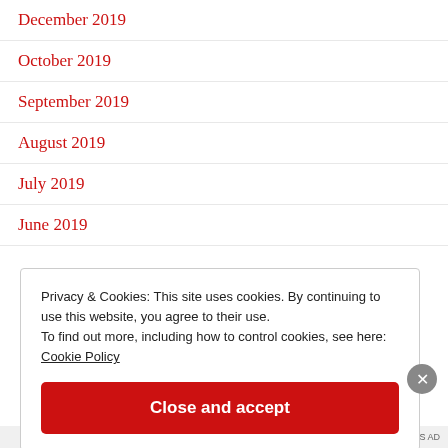December 2019
October 2019
September 2019
August 2019
July 2019
June 2019
Privacy & Cookies: This site uses cookies. By continuing to use this website, you agree to their use.
To find out more, including how to control cookies, see here: Cookie Policy
Close and accept